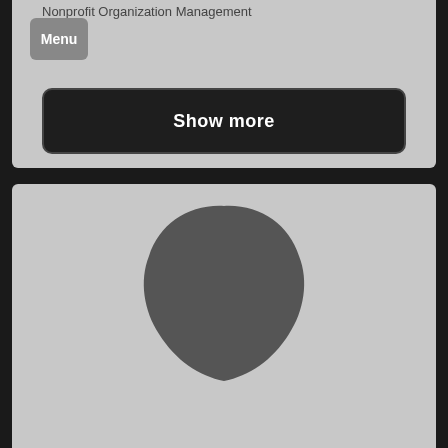Nonprofit Organization Management
[Figure (screenshot): Menu button in top-left corner of a gray panel]
[Figure (other): Show more dark button on gray background]
[Figure (photo): Gray panel with a dark silhouette/avatar shape centered in the lower portion of the page]